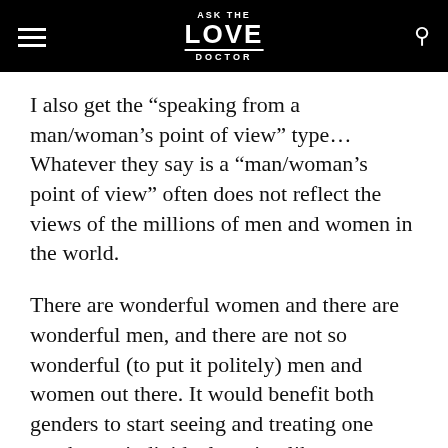ASK THE LOVE DOCTOR
I also get the “speaking from a man/woman’s point of view” type… Whatever they say is a “man/woman’s point of view” often does not reflect the views of the millions of men and women in the world.
There are wonderful women and there are wonderful men, and there are not so wonderful (to put it politely) men and women out there. It would benefit both genders to start seeing and treating one another as individuals acting like individuals, not on behalf of one or the other